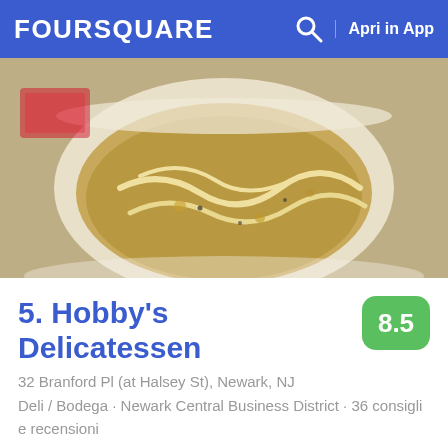FOURSQUARE  Apri in App
[Figure (photo): Top-down photo of a bowl of chicken noodle soup with noodles and broth in a white bowl, with restaurant items visible in background]
5. Hobby's Delicatessen
8.5
32 Branford Pl (at Halsey St), Newark, NJ
Deli / Bodega · Newark Central Business District · 36 consigli e recensioni
[Figure (photo): Restaurant table with multiple dishes: a hot dog on a roll on white plate, a bowl of coleslaw, pickles, a bottle of beer, and a bowl of soup with a spoon]